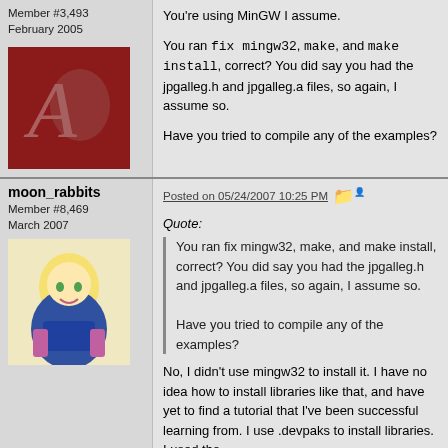Member #3,493
February 2005
[Figure (photo): Red avatar image with decorative letter A and figure]
You're using MinGW I assume.

You ran fix mingw32, make, and make install, correct? You did say you had the jpgalleg.h and jpgalleg.a files, so again, I assume so.

Have you tried to compile any of the examples?
moon_rabbits
Member #8,469
March 2007
Posted on 05/24/2007 10:25 PM
[Figure (photo): Anime character avatar - blonde girl in sailor outfit]
Quote:
You ran fix mingw32, make, and make install, correct? You did say you had the jpgalleg.h and jpgalleg.a files, so again, I assume so.

Have you tried to compile any of the examples?
No, I didn't use mingw32 to install it. I have no idea how to install libraries like that, and have yet to find a tutorial that I've been successful learning from. I use .devpaks to install libraries. I used the